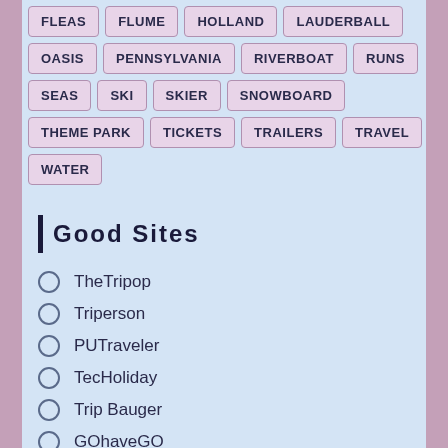FLEAS
FLUME
HOLLAND
LAUDERBALL
OASIS
PENNSYLVANIA
RIVERBOAT
RUNS
SEAS
SKI
SKIER
SNOWBOARD
THEME PARK
TICKETS
TRAILERS
TRAVEL
WATER
Good Sites
TheTripop
Triperson
PUTraveler
TecHoliday
Trip Bauger
GOhaveGO
AllRelaxDay
MyTourTour